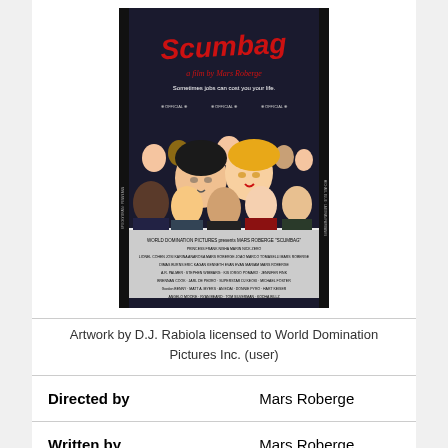[Figure (illustration): Movie poster for 'Scumbag', a film by Mars Roberge. The poster features cartoon caricatures of many people, with the title 'Scumbag' in red handwritten text at the top, subtitle 'a film by Mars Roberge', and tagline 'Sometimes jobs can cost you your life.' Various film festival laurels are shown around the border. Credits appear at the bottom of the poster.]
Artwork by D.J. Rabiola licensed to World Domination Pictures Inc. (user)
| Directed by | Mars Roberge |
| Written by | Mars Roberge |